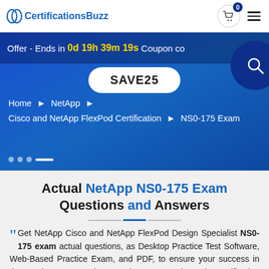CertificationsBuzz
Offer - Ends in 0d 19h 39m 19s Coupon co SAVE25
Home ► NetApp ► Cisco and NetApp FlexPod Certification ► NS0-175 Exam
Actual NetApp NS0-175 Exam Questions and Answers
Get NetApp Cisco and NetApp FlexPod Design Specialist NS0-175 exam actual questions, as Desktop Practice Test Software, Web-Based Practice Exam, and PDF, to ensure your success in the real NetApp Cisco and NetApp FlexPod Certification Certification Exam. Our real NetApp NS0-175